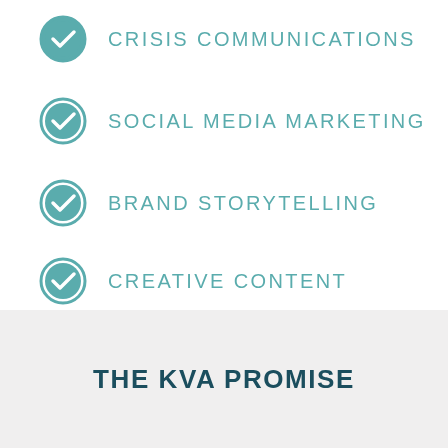CRISIS COMMUNICATIONS
SOCIAL MEDIA MARKETING
BRAND STORYTELLING
CREATIVE CONTENT
THE KVA PROMISE